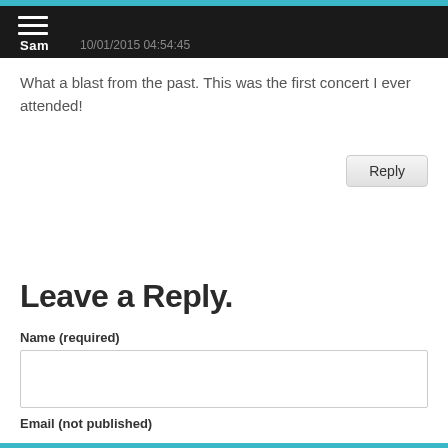Sam  10/01/2015 04:54:45
What a blast from the past. This was the first concert I ever attended!
Leave a Reply.
Name (required)
Email (not published)